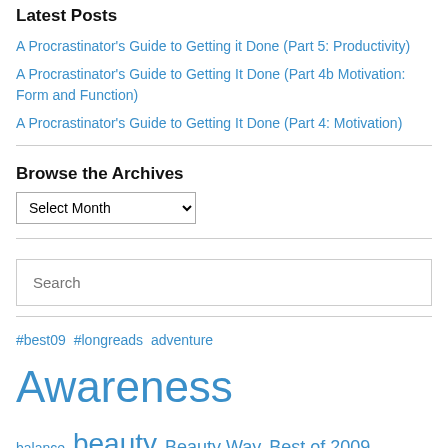Latest Posts
A Procrastinator's Guide to Getting it Done (Part 5: Productivity)
A Procrastinator's Guide to Getting It Done (Part 4b Motivation: Form and Function)
A Procrastinator's Guide to Getting It Done (Part 4: Motivation)
Browse the Archives
Select Month
Search
#best09 #longreads adventure Awareness balance beauty Beauty Way Best of 2009 body-